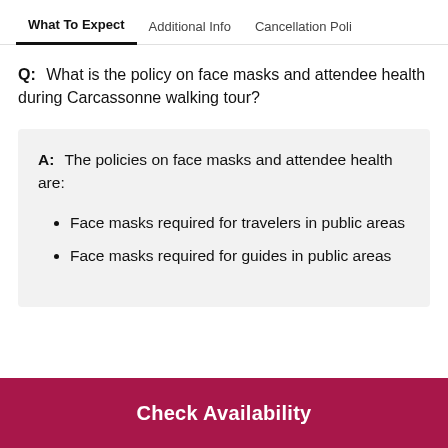What To Expect | Additional Info | Cancellation Poli
Q:  What is the policy on face masks and attendee health during Carcassonne walking tour?
A:  The policies on face masks and attendee health are:
Face masks required for travelers in public areas
Face masks required for guides in public areas
Check Availability